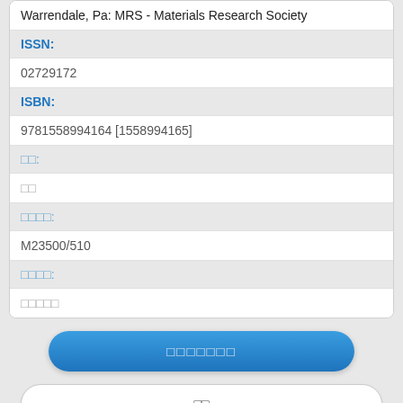Warrendale, Pa: MRS - Materials Research Society
| ISSN: | 02729172 |
| ISBN: | 9781558994164 [1558994165] |
| □□: | □□ |
| □□□□: | M23500/510 |
| □□□□: | □□□□□ |
□□□□□□□
□□
[Figure (screenshot): Bottom partial white card]